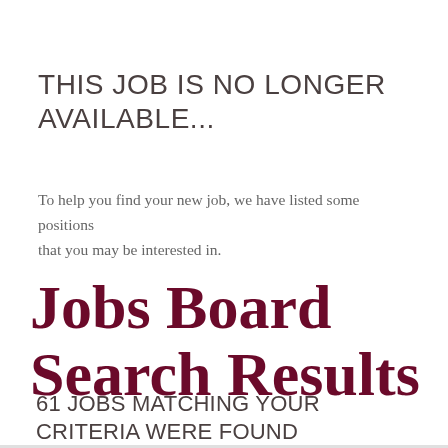THIS JOB IS NO LONGER AVAILABLE...
To help you find your new job, we have listed some positions that you may be interested in.
Jobs Board Search Results
61 JOBS MATCHING YOUR CRITERIA WERE FOUND